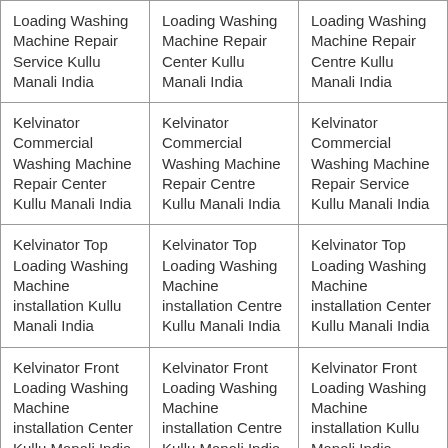| Loading Washing Machine Repair Service Kullu Manali India | Loading Washing Machine Repair Center Kullu Manali India | Loading Washing Machine Repair Centre Kullu Manali India |
| Kelvinator Commercial Washing Machine Repair Center Kullu Manali India | Kelvinator Commercial Washing Machine Repair Centre Kullu Manali India | Kelvinator Commercial Washing Machine Repair Service Kullu Manali India |
| Kelvinator Top Loading Washing Machine installation Kullu Manali India | Kelvinator Top Loading Washing Machine installation Centre Kullu Manali India | Kelvinator Top Loading Washing Machine installation Center Kullu Manali India |
| Kelvinator Front Loading Washing Machine installation Center Kullu Manali India | Kelvinator Front Loading Washing Machine installation Centre Kullu Manali India | Kelvinator Front Loading Washing Machine installation Kullu Manali India |